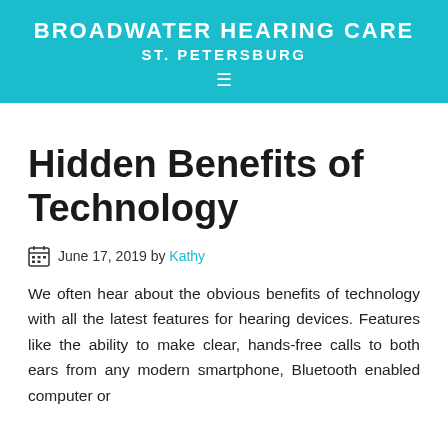BROADWATER HEARING CARE ST. PETERSBURG
Hidden Benefits of Technology
June 17, 2019 by Kathy
We often hear about the obvious benefits of technology with all the latest features for hearing devices. Features like the ability to make clear, hands-free calls to both ears from any modern smartphone, Bluetooth enabled computer or